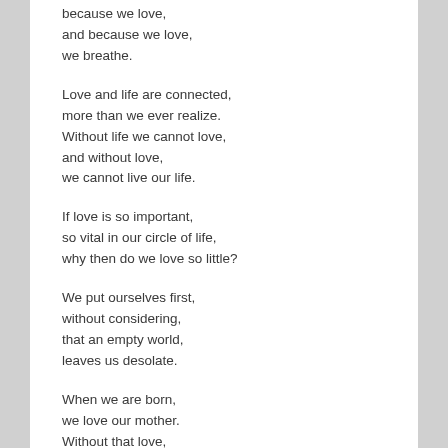because we love,
and because we love,
we breathe.
Love and life are connected,
more than we ever realize.
Without life we cannot love,
and without love,
we cannot live our life.
If love is so important,
so vital in our circle of life,
why then do we love so little?
We put ourselves first,
without considering,
that an empty world,
leaves us desolate.
When we are born,
we love our mother.
Without that love,